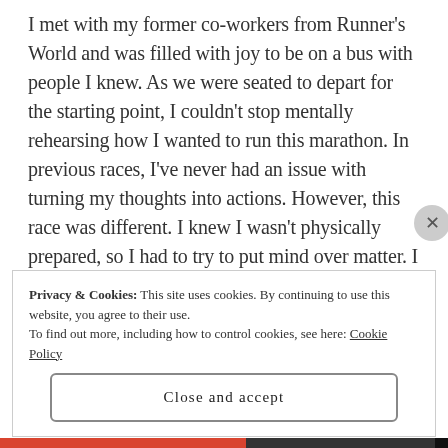I met with my former co-workers from Runner's World and was filled with joy to be on a bus with people I knew. As we were seated to depart for the starting point, I couldn't stop mentally rehearsing how I wanted to run this marathon. In previous races, I've never had an issue with turning my thoughts into actions. However, this race was different. I knew I wasn't physically prepared, so I had to try to put mind over matter. I was hoping that some spontaneous burst of energy that was stored somewhere in my body would arise and make me run the best race of my life (that was not the case)
Privacy & Cookies: This site uses cookies. By continuing to use this website, you agree to their use. To find out more, including how to control cookies, see here: Cookie Policy
Close and accept